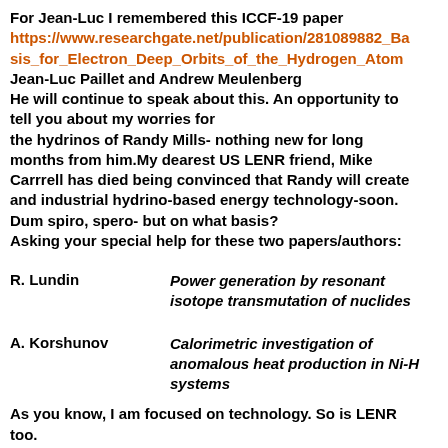For Jean-Luc I remembered this ICCF-19 paper https://www.researchgate.net/publication/281089882_Basis_for_Electron_Deep_Orbits_of_the_Hydrogen_Atom Jean-Luc Paillet and Andrew Meulenberg He will continue to speak about this. An opportunity to tell you about my worries for the hydrinos of Randy Mills- nothing new for long months from him.My dearest US LENR friend, Mike Carrrell has died being convinced that Randy will create and industrial hydrino-based energy technology-soon. Dum spiro, spero- but on what basis? Asking your special help for these two papers/authors:
R. Lundin    Power generation by resonant isotope transmutation of nuclides
A. Korshunov    Calorimetric investigation of anomalous heat production in Ni-H systems
As you know, I am focused on technology. So is LENR too.